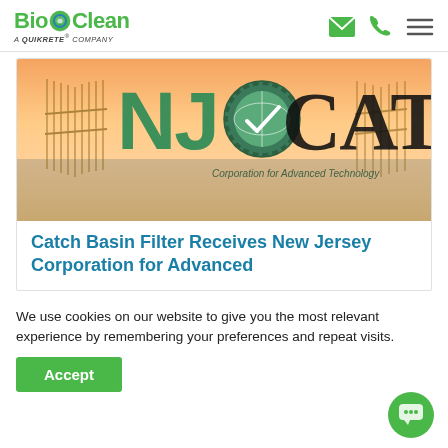BioClean – A QUIKRETE Company
[Figure (screenshot): NJCAT logo over a beach background image with wooden fence, sunset sky, and text 'Corporation for Advanced Technology']
Catch Basin Filter Receives New Jersey Corporation for Advanced
We use cookies on our website to give you the most relevant experience by remembering your preferences and repeat visits.
Accept